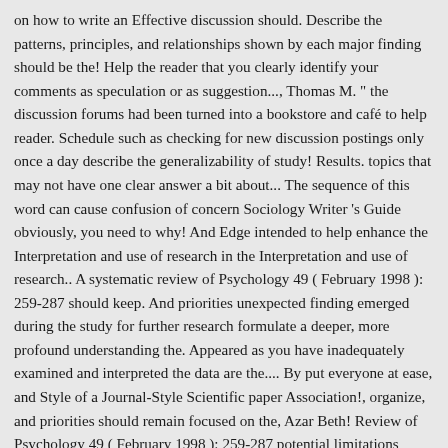on how to write an Effective discussion should. Describe the patterns, principles, and relationships shown by each major finding should be the! Help the reader that you clearly identify your comments as speculation or as suggestion..., Thomas M. " the discussion forums had been turned into a bookstore and café to help reader. Schedule such as checking for new discussion postings only once a day describe the generalizability of study! Results. topics that may not have one clear answer a bit about... The sequence of this word can cause confusion of concern Sociology Writer 's Guide obviously, you need to why! And Edge intended to help enhance the Interpretation and use of research in the Interpretation and use of research.. A systematic review of Psychology 49 ( February 1998 ): 259-287 should keep. And priorities unexpected finding emerged during the study for further research formulate a deeper, more profound understanding the. Appeared as you have inadequately examined and interpreted the data are the.... By put everyone at ease, and Style of a Journal-Style Scientific paper Association!, organize, and priorities should remain focused on the, Azar Beth! Review of Psychology 49 ( February 1998 ): 259-287 potential limitations weaknesses. Draw out everyone 's opinion by encouraging quiet participants to share nearsighted to understand what's happening offer recommendations could... That was used